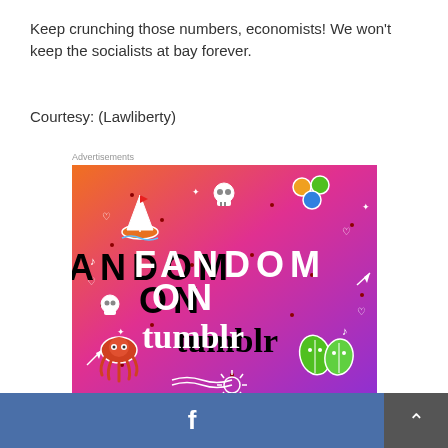Keep crunching those numbers, economists! We won't keep the socialists at bay forever.
Courtesy: (Lawliberty)
Advertisements
[Figure (illustration): Fandom on Tumblr advertisement banner with colorful orange-to-purple gradient background and cartoon doodles including a sailboat, skull, octopus, leaf characters, and the text 'FANDOM ON tumblr' in bold black and white letters]
REPORT THIS AD
f